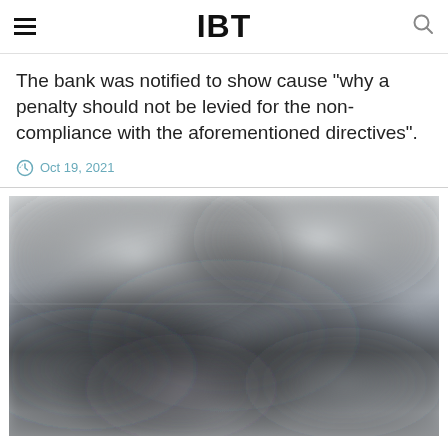IBT
The bank was notified to show cause "why a penalty should not be levied for the non-compliance with the aforementioned directives".
Oct 19, 2021
[Figure (photo): Blurred/obscured photograph, likely of a bank building or related financial institution imagery]